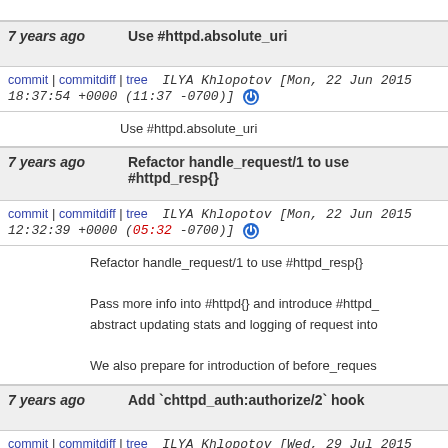7 years ago   Use #httpd.absolute_uri
commit | commitdiff | tree   ILYA Khlopotov [Mon, 22 Jun 2015 18:37:54 +0000 (11:37 -0700)]
Use #httpd.absolute_uri
7 years ago   Refactor handle_request/1 to use #httpd_resp{}
commit | commitdiff | tree   ILYA Khlopotov [Mon, 22 Jun 2015 12:32:39 +0000 (05:32 -0700)]
Refactor handle_request/1 to use #httpd_resp{}

Pass more info into #httpd{} and introduce #httpd_ abstract updating stats and logging of request into

We also prepare for introduction of before_reques
7 years ago   Add `chttpd_auth:authorize/2` hook
commit | commitdiff | tree   ILYA Khlopotov [Wed, 29 Jul 2015 17:15:50 +0000 (10:15 -0700)]
Add `chttpd_auth:authorize/2` hook